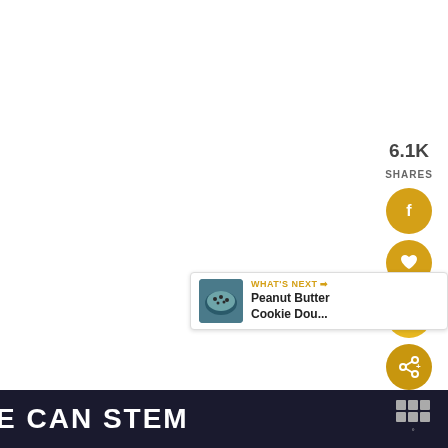[Figure (screenshot): White content area with social sharing sidebar on the right showing 6.1K shares, Facebook button, heart/save button, 6.1K share count badge, and share icon button]
6.1K SHARES
[Figure (infographic): What's Next banner with image of peanut butter cookie dough bowl and text 'WHAT'S NEXT → Peanut Butter Cookie Dou...']
WHAT'S NEXT → Peanut Butter Cookie Dou...
[Figure (logo): Dark banner at bottom with 'SHE CAN STEM' text in white bold letters and a logo on the right]